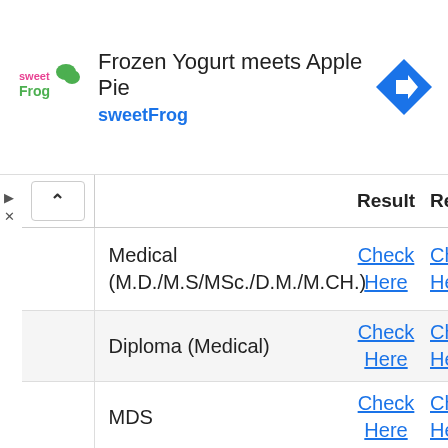[Figure (screenshot): Ad banner for sweetFrog: 'Frozen Yogurt meets Apple Pie' with sweetFrog logo and navigation arrow icon]
|  | Result | Re |
| --- | --- | --- |
| Medical (M.D./M.S/MSc./D.M./M.CH.) | Check Here | Ch He |
| Diploma (Medical) | Check Here | Ch He |
| MDS | Check Here | Ch He |
| MDS (Part-I,II) | Check Here | Ch He |
| M.D./M.S. (Unani) | Check Here | Ch He |